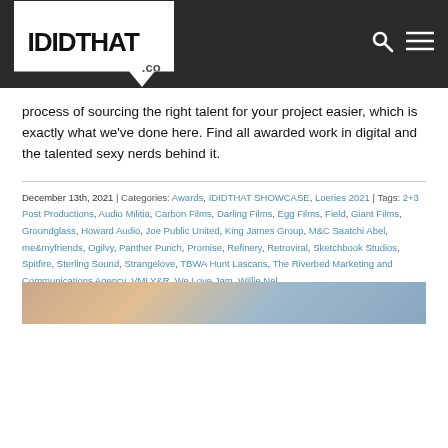IDIDTHAT .CO
process of sourcing the right talent for your project easier, which is exactly what we've done here. Find all awarded work in digital and the talented sexy nerds behind it.
December 13th, 2021 | Categories: Awards, IDIDTHAT SHOWCASE, Loeries 2021 | Tags: 2+3 Post Productions, Audio Militia, Carbon Films, Darling Films, Egg Films, Field, Giant Films, Groundglass, Howard Audio, Joe Public United, King James Group, M&C Saatchi Abel, me&myfriends, Ogilvy, Panther Punch, Promise, Refinery, Retroviral, Sketchbook Studios, Spitfire, Sterling Sound, Strangelove, TBWA Hunt Lascaris, The Riverbed Marketing and Communications Agency, VMLY&R, We Love Jam, Willie Nel
Read More